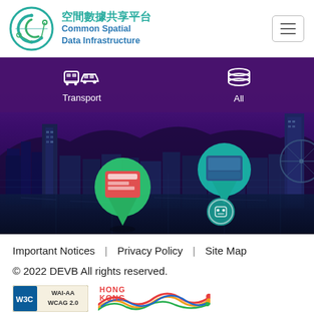[Figure (logo): Common Spatial Data Infrastructure logo - circular teal/green icon with letter C and data network design]
空間數據共享平台
Common Spatial Data Infrastructure
[Figure (screenshot): Website banner showing Hong Kong city skyline at night with purple overlay, navigation icons for Transport and All categories, and map pin markers with content previews]
Important Notices  |  Privacy Policy  |  Site Map
© 2022 DEVB All rights reserved.
[Figure (logo): W3C WAI-AA WCAG 2.0 accessibility badge and Hong Kong brand logo with colorful wave design]